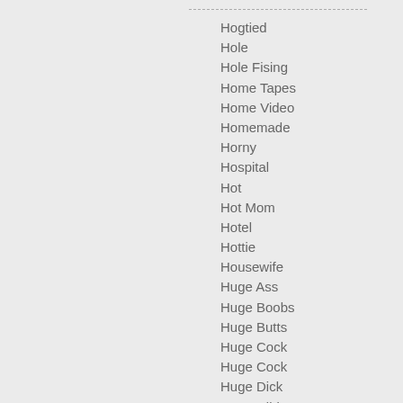Hogtied
Hole
Hole Fising
Home Tapes
Home Video
Homemade
Horny
Hospital
Hot
Hot Mom
Hotel
Hottie
Housewife
Huge Ass
Huge Boobs
Huge Butts
Huge Cock
Huge Cock
Huge Dick
Huge Dildo
Huge Dildo
Huge Tits